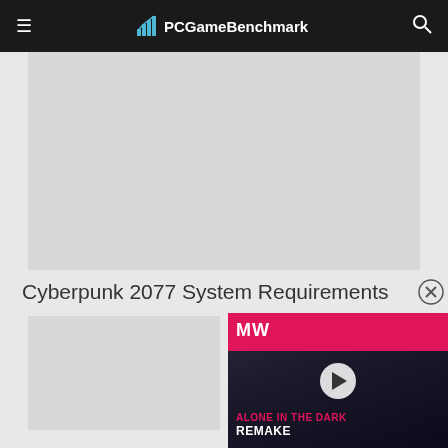≡  PCGameBenchmark  🔍
[Figure (other): Advertisement banner placeholder (gray rectangle)]
Cyberpunk 2077 System Requirements
[Figure (other): Video advertisement overlay for 'Alone in the Dark Remake' by MW (MellMental) with pink/magenta branding, play button, dark background with partial figure image, text: ALONE IN THE DARK REMAKE]